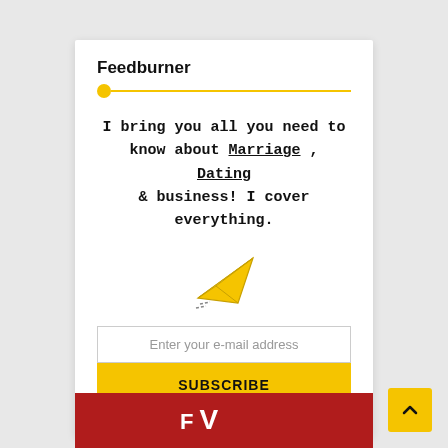Feedburner
I bring you all you need to know about Marriage , Dating & business! I cover everything.
[Figure (illustration): Paper airplane icon in yellow/gold color scheme pointing to the upper right with motion lines below]
Enter your e-mail address
SUBSCRIBE